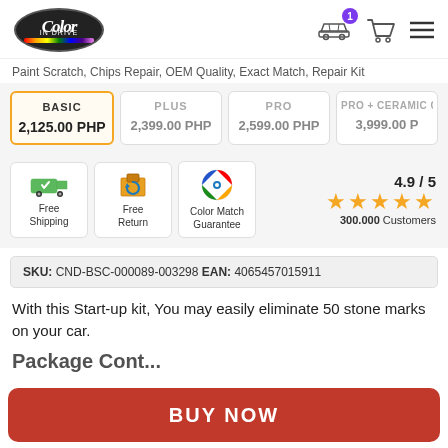Color In Drive logo, car icon with badge 1, cart icon, menu icon
Paint Scratch, Chips Repair, OEM Quality, Exact Match, Repair Kit
| BASIC | PLUS | PRO | PRO + CERAMIC C |
| --- | --- | --- | --- |
| 2,125.00 PHP | 2,399.00 PHP | 2,599.00 PHP | 3,999.00 P |
[Figure (infographic): Three benefit icons: Free Shipping (green truck), Free Return (box with arrows), Color Match Guarantee (colorful circle). Rating: 4.9/5 with 5 gold stars and 300.000 Customers.]
SKU: CND-BSC-000089-003298 EAN: 4065457015911
With this Start-up kit, You may easily eliminate 50 stone marks on your car.
BUY NOW